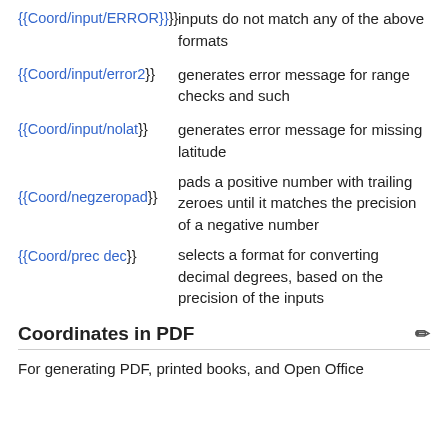{{Coord/input/ERROR}} — inputs do not match any of the above formats
{{Coord/input/error2}} — generates error message for range checks and such
{{Coord/input/nolat}} — generates error message for missing latitude
{{Coord/negzeropad}} — pads a positive number with trailing zeroes until it matches the precision of a negative number
{{Coord/prec dec}} — selects a format for converting decimal degrees, based on the precision of the inputs
Coordinates in PDF
For generating PDF, printed books, and Open Office